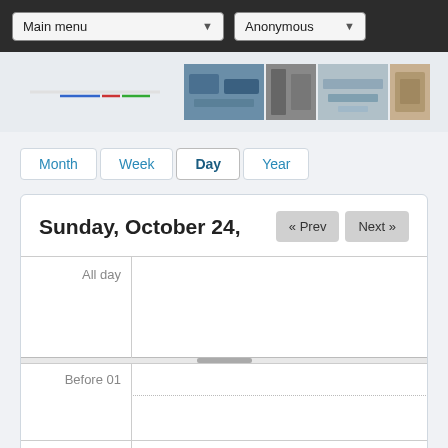Main menu | Anonymous
[Figure (screenshot): Website banner with logo on left and industrial photo collage on right]
Month
Week
Day
Year
Sunday, October 24, [year]
| Time | Events |
| --- | --- |
| All day |  |
| Before 01 |  |
| 01 |  |
| 02 |  |
| 03 |  |